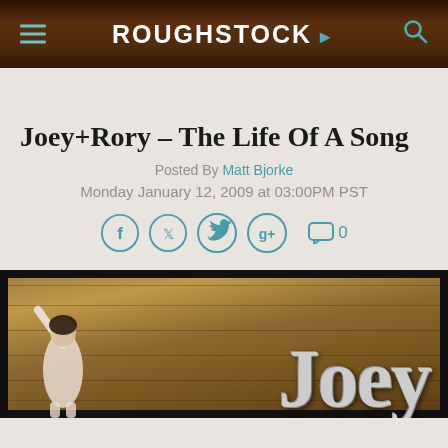ROUGHSTOCK
Joey+Rory – The Life Of A Song
Posted By Matt Bjorke
Monday January 12, 2009 at 03:00PM PST
[Figure (screenshot): Social sharing icons: Facebook, Twitter, Google+, and comment count showing 0]
[Figure (photo): Album cover image showing a woman with Joey text visible in large letters on a wooden background]